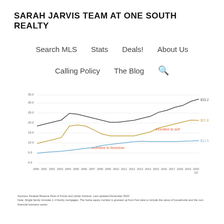SARAH JARVIS TEAM AT ONE SOUTH REALTY
Search MLS   Stats   Deals!   About Us
Calling Policy   The Blog
[Figure (line-chart): ]
Sources: Federal Reserve Flow of Funds and Urban Institute. Last updated December 2020. Note: Single family includes 1–4 family mortgages. The home equity number is grossed up from Fed data to include the value of households and the non-financial business sector.